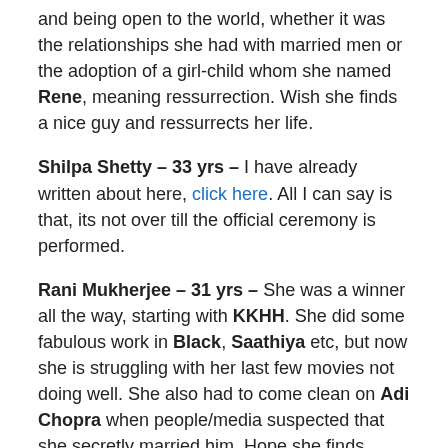and being open to the world, whether it was the relationships she had with married men or the adoption of a girl-child whom she named Rene, meaning ressurrection. Wish she finds a nice guy and ressurrects her life.
Shilpa Shetty – 33 yrs – I have already written about here, click here. All I can say is that, its not over till the official ceremony is performed.
Rani Mukherjee – 31 yrs – She was a winner all the way, starting with KKHH. She did some fabulous work in Black, Saathiya etc, but now she is struggling with her last few movies not doing well. She also had to come clean on Adi Chopra when people/media suspected that she secretly married him. Hope she finds someone the way her cousin Kajol did, and settle down.